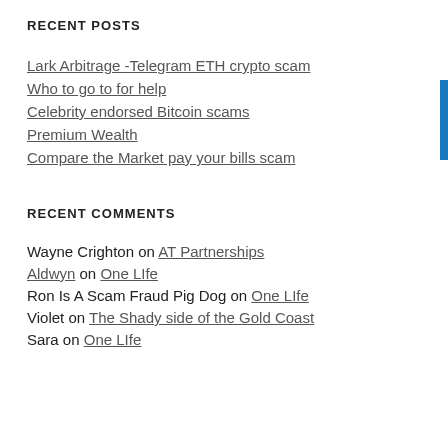RECENT POSTS
Lark Arbitrage -Telegram ETH crypto scam
Who to go to for help
Celebrity endorsed Bitcoin scams
Premium Wealth
Compare the Market pay your bills scam
RECENT COMMENTS
Wayne Crighton on AT Partnerships
Aldwyn on One LIfe
Ron Is A Scam Fraud Pig Dog on One LIfe
Violet on The Shady side of the Gold Coast
Sara on One LIfe